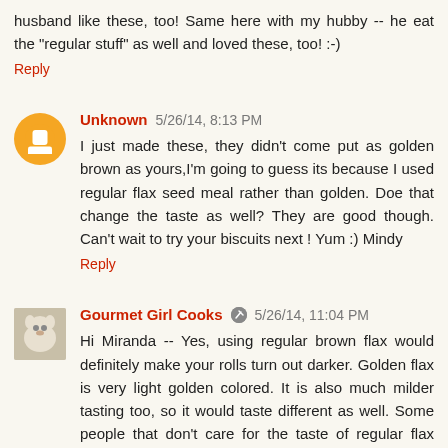husband like these, too! Same here with my hubby -- he eat the "regular stuff" as well and loved these, too! :-)
Reply
Unknown 5/26/14, 8:13 PM
I just made these, they didn't come put as golden brown as yours,I'm going to guess its because I used regular flax seed meal rather than golden. Doe that change the taste as well? They are good though. Can't wait to try your biscuits next ! Yum :) Mindy
Reply
Gourmet Girl Cooks 5/26/14, 11:04 PM
Hi Miranda -- Yes, using regular brown flax would definitely make your rolls turn out darker. Golden flax is very light golden colored. It is also much milder tasting too, so it would taste different as well. Some people that don't care for the taste of regular flax actually like the taste of the